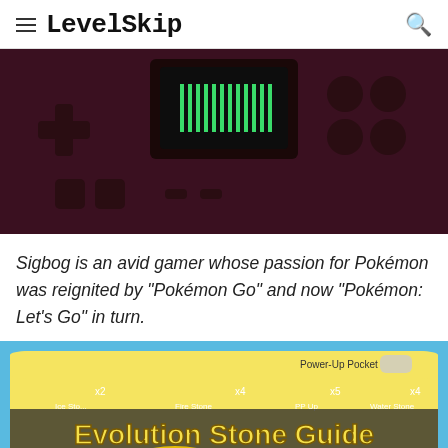LevelSkip
[Figure (photo): Close-up dark red/maroon Game Boy Advance handheld console showing the speaker grille, buttons, and screen with green pixel speaker bars]
Sigbog is an avid gamer whose passion for Pokémon was reignited by "Pokémon Go" and now "Pokémon: Let's Go" in turn.
[Figure (photo): Evolution Stone Guide thumbnail featuring Pikachu and Eevee with items listed: Ice Stone, Fire Stone, PP Up, Water Stone x2, x4, x5, x4, Leaf Stone, with Power-Up Pocket menu shown. Bold yellow text reads 'Evolution Stone Guide']
Evolution Stone Guide